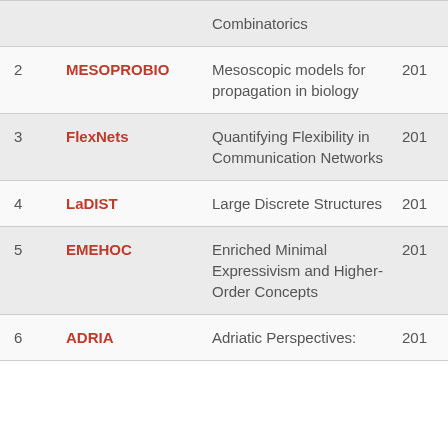| # | Code | Title | Year |
| --- | --- | --- | --- |
|  |  | Combinatorics |  |
| 2 | MESOPROBIO | Mesoscopic models for propagation in biology | 201 |
| 3 | FlexNets | Quantifying Flexibility in Communication Networks | 201 |
| 4 | LaDIST | Large Discrete Structures | 201 |
| 5 | EMEHOC | Enriched Minimal Expressivism and Higher-Order Concepts | 201 |
| 6 | ADRIA | Adriatic Perspectives: | 201 |